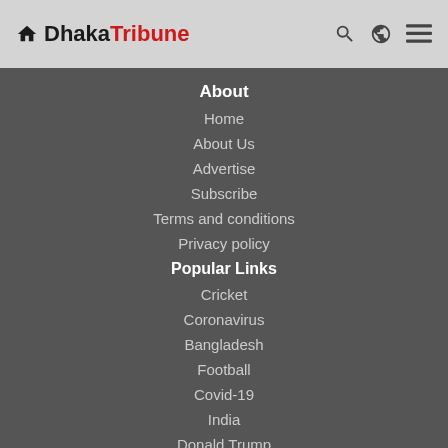Dhaka Tribune
About
Home
About Us
Advertise
Subscribe
Terms and conditions
Privacy policy
Popular Links
Cricket
Coronavirus
Bangladesh
Football
Covid-19
India
Donald Trump